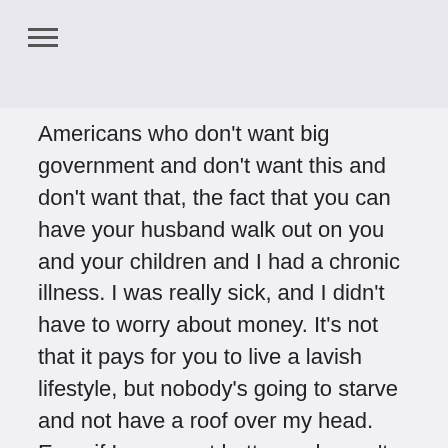the kind of country that we do. As much as I read this politics and
Americans who don't want big government and don't want this and don't want that, the fact that you can have your husband walk out on you and your children and I had a chronic illness. I was really sick, and I didn't have to worry about money. It's not that it pays for you to live a lavish lifestyle, but nobody's going to starve and not have a roof over my head. Even if I never got better and wasn't even able to do anything else, my kids would be okay.  That was the main thing and so I am hugely